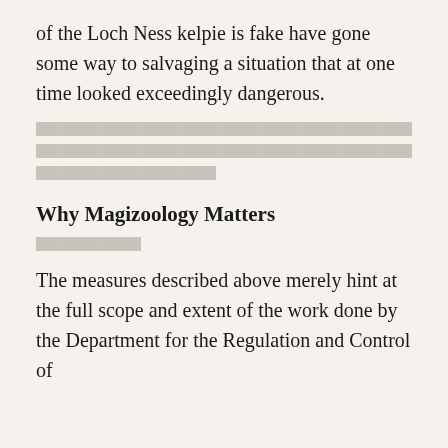of the Loch Ness kelpie is fake have gone some way to salvaging a situation that at one time looked exceedingly dangerous.
[redacted paragraph]
Why Magizoology Matters
[redacted text]
The measures described above merely hint at the full scope and extent of the work done by the Department for the Regulation and Control of